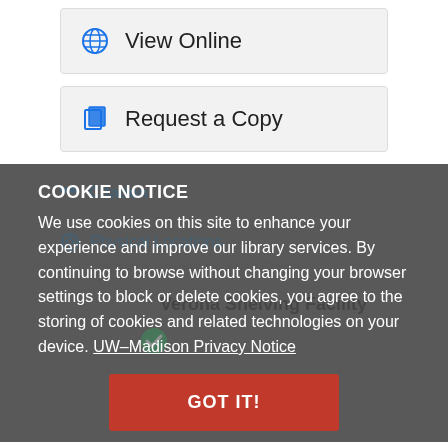View Online
Request a Copy
COOKIE NOTICE
We use cookies on this site to enhance your experience and improve our library services. By continuing to browse without changing your browser settings to block or delete cookies, you agree to the storing of cookies and related technologies on your device. UW–Madison Privacy Notice
Citation
Physical Locations
This item is also held by UW-La Crosse
Verona Shelving Facility
GOT IT!